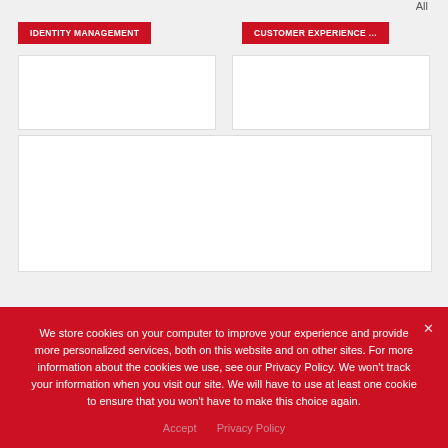All
IDENTITY MANAGEMENT
CUSTOMER EXPERIENCE ...
[Figure (screenshot): White content box area, partially visible webpage content]
We store cookies on your computer to improve your experience and provide more personalized services, both on this website and on other sites. For more information about the cookies we use, see our Privacy Policy. We won't track your information when you visit our site. We will have to use at least one cookie to ensure that you won't have to make this choice again.
Accept   Privacy Policy